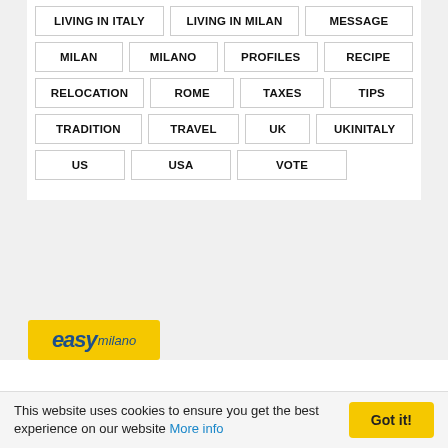LIVING IN ITALY
LIVING IN MILAN
MESSAGE
MILAN
MILANO
PROFILES
RECIPE
RELOCATION
ROME
TAXES
TIPS
TRADITION
TRAVEL
UK
UKINITALY
US
USA
VOTE
[Figure (logo): easy milano logo on yellow background]
This website uses cookies to ensure you get the best experience on our website More info
Got it!